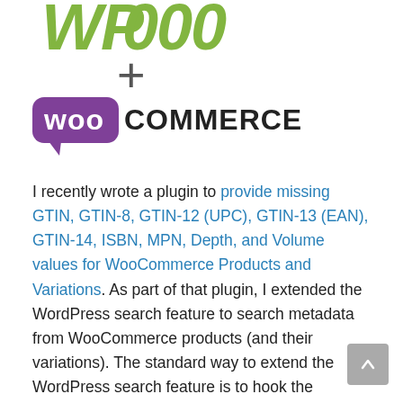[Figure (logo): WordPress + WooCommerce logo combination. Top portion shows partial WordPress logo (WP letters in green). Below it a plus sign. Then the WooCommerce logo with 'woo' in white text on purple speech bubble and 'COMMERCE' in bold black.]
I recently wrote a plugin to provide missing GTIN, GTIN-8, GTIN-12 (UPC), GTIN-13 (EAN), GTIN-14, ISBN, MPN, Depth, and Volume values for WooCommerce Products and Variations. As part of that plugin, I extended the WordPress search feature to search metadata from WooCommerce products (and their variations). The standard way to extend the WordPress search feature is to hook the "pre_get_posts" action and modify